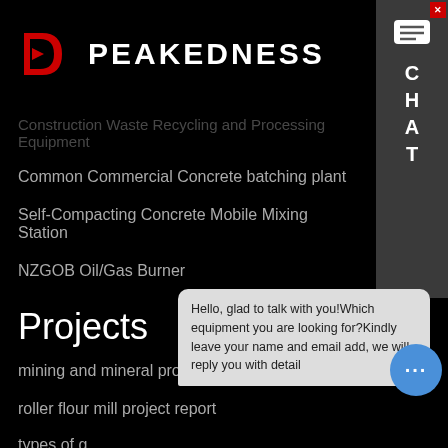[Figure (logo): Peakedness company logo with red arrow icon and white bold text PEAKEDNESS]
Construction Waste Recycling and Processing Equipment
Common Commercial Concrete batching plant
Self-Compacting Concrete Mobile Mixing Station
NZGOB Oil/Gas Burner
Projects
mining and mineral processing chemicals
roller flour mill project report
types of g...
vibration problem in coal mill gearbox
Hello, glad to talk with you!Which equipment you are looking for?Kindly leave your name and email add, we will reply you with detail